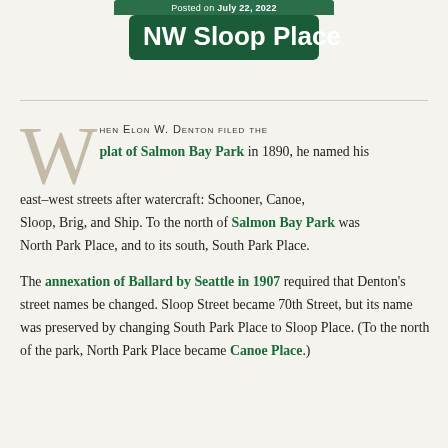Posted on July 22, 2022
NW Sloop Place
WHEN ELON W. DENTON FILED THE plat of Salmon Bay Park in 1890, he named his east–west streets after watercraft: Schooner, Canoe, Sloop, Brig, and Ship. To the north of Salmon Bay Park was North Park Place, and to its south, South Park Place.
The annexation of Ballard by Seattle in 1907 required that Denton's street names be changed. Sloop Street became 70th Street, but its name was preserved by changing South Park Place to Sloop Place. (To the north of the park, North Park Place became Canoe Place.)